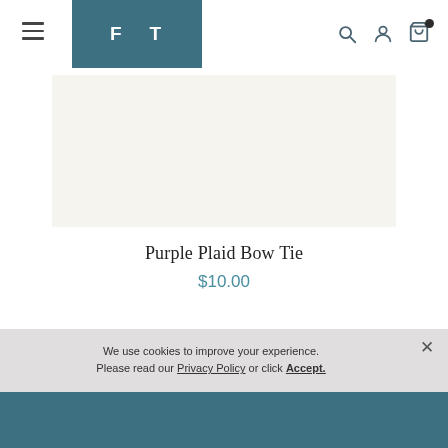FT — navigation header with hamburger menu, logo, search, user, and cart icons
[Figure (photo): Product image area — off-white/cream colored rectangular region representing a Purple Plaid Bow Tie product photo]
Purple Plaid Bow Tie
$10.00
We use cookies to improve your experience. Please read our Privacy Policy or click Accept.
Footer bar — teal/dark blue background